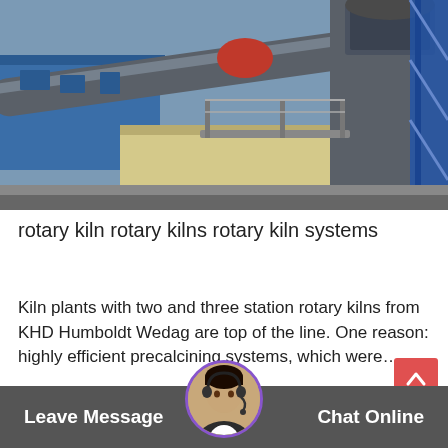[Figure (photo): Industrial rotary kiln facility with large pipes, steel structures, blue panels, and a multi-level industrial tower/preheater against a sky background.]
rotary kiln rotary kilns rotary kiln systems
Kiln plants with two and three station rotary kilns from KHD Humboldt Wedag are top of the line. One reason: highly efficient precalcining systems, which were…
Release Time : Apr_0…
Leave Message   Chat Online